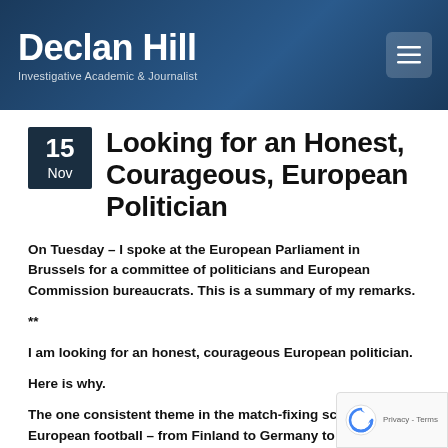Declan Hill — Investigative Academic & Journalist
Looking for an Honest, Courageous, European Politician
On Tuesday – I spoke at the European Parliament in Brussels for a committee of politicians and European Commission bureaucrats. This is a summary of my remarks.
**
I am looking for an honest, courageous European politician.
Here is why.
The one consistent theme in the match-fixing scandals across European football – from Finland to Germany to Austria to Hungary